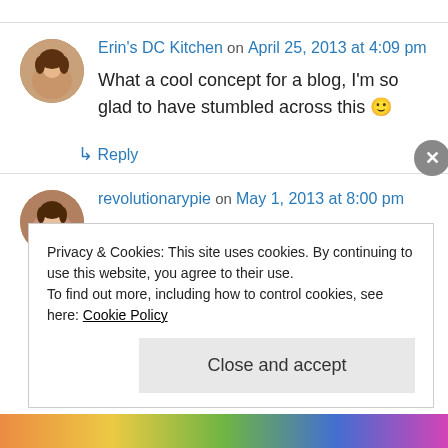Erin's DC Kitchen on April 25, 2013 at 4:09 pm
What a cool concept for a blog, I'm so glad to have stumbled across this 🙂
↳ Reply
revolutionarypie on May 1, 2013 at 8:00 pm
Privacy & Cookies: This site uses cookies. By continuing to use this website, you agree to their use.
To find out more, including how to control cookies, see here: Cookie Policy
Close and accept